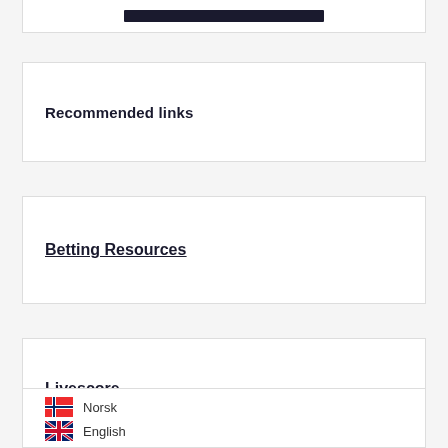[Figure (other): Dark navy bar/logo at top of page inside a white card]
Recommended links
Betting Resources
Livescore
Norsk
English